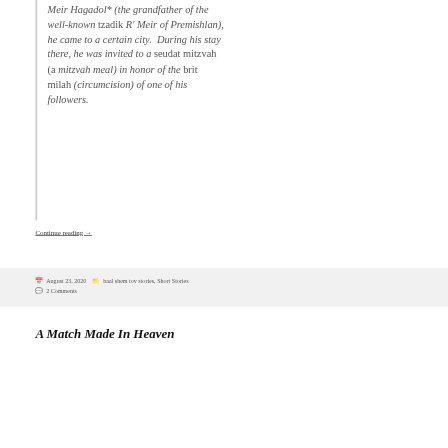Meir Hagadol* (the grandfather of the well-known tzadik R' Meir of Premishlan), he came to a certain city.  During his stay there, he was invited to a seudat mitzvah (a mitzvah meal) in honor of the brit milah (circumcision) of one of his followers.
Continue reading →
August 23, 2020   baal shem tov stories, Short Stories   2 Comments
A Match Made In Heaven